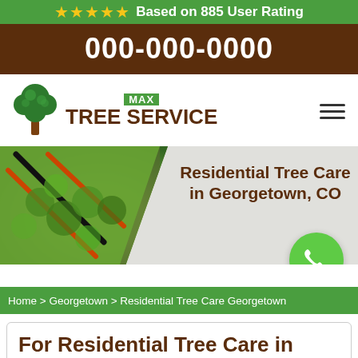★★★★★ Based on 885 User Rating
000-000-0000
[Figure (logo): Max Tree Service logo with green tree icon and brown text]
[Figure (photo): Hero banner with hedge trimming photo and text: Residential Tree Care in Georgetown, CO]
Home > Georgetown > Residential Tree Care Georgetown
For Residential Tree Care in Georgetown, CO, Hire Trained Tree Care Experts Cut by